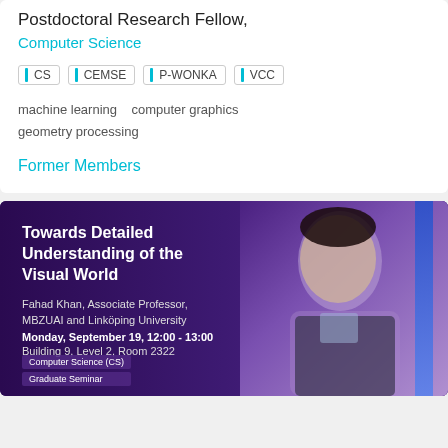Postdoctoral Research Fellow,
Computer Science
CS
CEMSE
P-WONKA
VCC
machine learning   computer graphics   geometry processing
Former Members
[Figure (photo): Seminar announcement card with dark purple background showing a man (Fahad Khan) on the right side. Text reads: Towards Detailed Understanding of the Visual World. Fahad Khan, Associate Professor, MBZUAI and Linköping University. Monday, September 19, 12:00 - 13:00. Building 9, Level 2, Room 2322. Badges: Computer Science (CS), Graduate Seminar.]